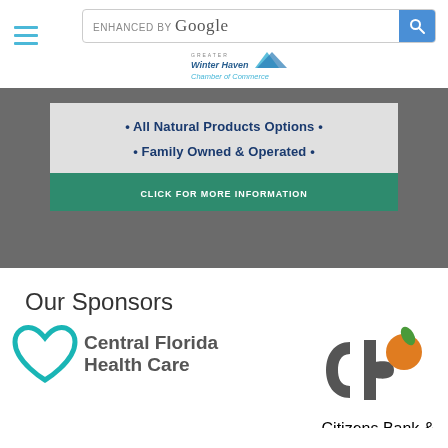Enhanced by Google search bar and Greater Winter Haven Chamber of Commerce logo
[Figure (screenshot): Advertisement banner with dark gray background showing text: • All Natural Products Options • and • Family Owned & Operated • with a green CLICK FOR MORE INFORMATION button]
Our Sponsors
[Figure (logo): Central Florida Health Care logo with teal heart icon]
[Figure (logo): Citizens Bank & Trust logo with stylized 'cb' and orange circle]